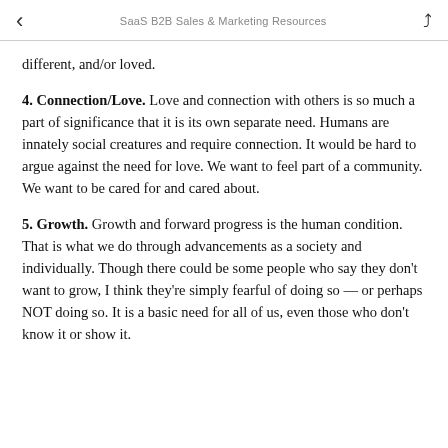SaaS B2B Sales & Marketing Resources
different, and/or loved.
4. Connection/Love. Love and connection with others is so much a part of significance that it is its own separate need. Humans are innately social creatures and require connection. It would be hard to argue against the need for love. We want to feel part of a community. We want to be cared for and cared about.
5. Growth. Growth and forward progress is the human condition. That is what we do through advancements as a society and individually. Though there could be some people who say they don't want to grow, I think they're simply fearful of doing so — or perhaps NOT doing so. It is a basic need for all of us, even those who don't know it or show it.